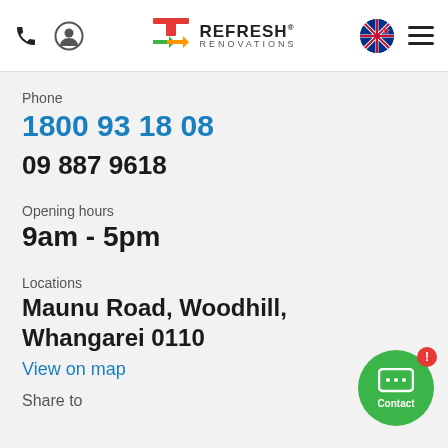[Figure (logo): Refresh Renovations logo with colorful plus/arrow symbol and navigation icons including phone, user, NZ flag, and hamburger menu]
Phone
1800 93 18 08
09 887 9618
Opening hours
9am - 5pm
Locations
Maunu Road, Woodhill, Whangarei 0110
View on map
Share to